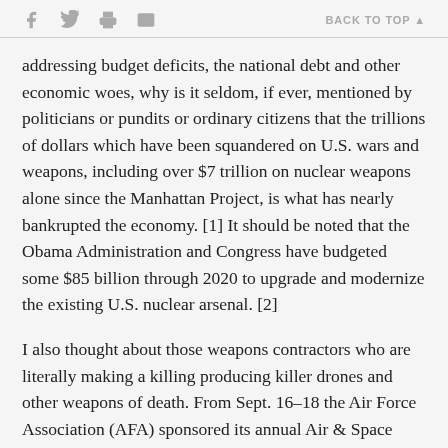f  [twitter]  [print]  [mail]   BACK TO TOP ▲
addressing budget deficits, the national debt and other economic woes, why is it seldom, if ever, mentioned by politicians or pundits or ordinary citizens that the trillions of dollars which have been squandered on U.S. wars and weapons, including over $7 trillion on nuclear weapons alone since the Manhattan Project, is what has nearly bankrupted the economy. [1] It should be noted that the Obama Administration and Congress have budgeted some $85 billion through 2020 to upgrade and modernize the existing U.S. nuclear arsenal. [2]
I also thought about those weapons contractors who are literally making a killing producing killer drones and other weapons of death. From Sept. 16–18 the Air Force Association (AFA) sponsored its annual Air & Space Conference and Technology Expo (referred to